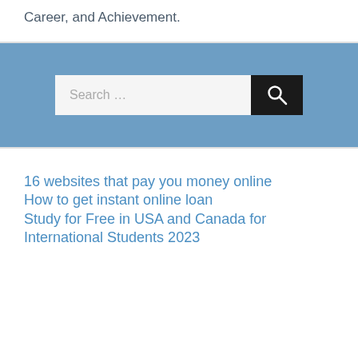Career, and Achievement.
[Figure (screenshot): Search bar with text 'Search ...' on a blue background, with a black search button showing a magnifying glass icon]
16 websites that pay you money online
How to get instant online loan
Study for Free in USA and Canada for International Students 2023